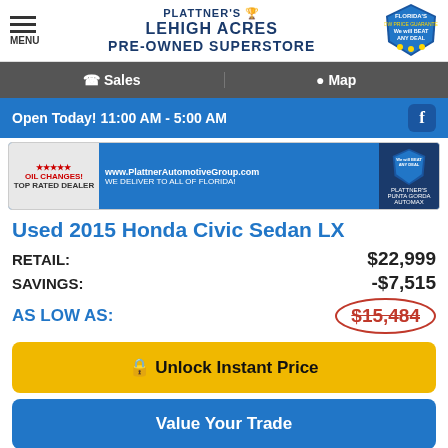PLATTNER'S LEHIGH ACRES PRE-OWNED SUPERSTORE
Sales  Map
Open Today! 11:00 AM - 5:00 AM
[Figure (photo): Dealer banner with website and Florida delivery info]
Used 2015 Honda Civic Sedan LX
RETAIL: $22,999
SAVINGS: -$7,515
AS LOW AS: $15,484
🔒 Unlock Instant Price
Value Your Trade